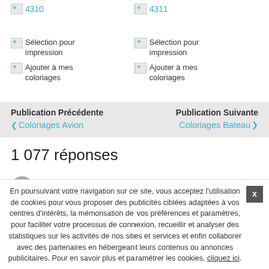[Figure (screenshot): Two broken image placeholders labeled '4310' and '4311' shown as linked images in blue text]
Sélection pour impression
Ajouter à mes coloriages
Sélection pour impression
Ajouter à mes coloriages
Publication Précédente
◀ Coloriages Avion
Publication Suivante
Coloriages Bateau ▶
1 077 réponses
Paul Rottier
En poursuivant votre navigation sur ce site, vous acceptez l'utilisation de cookies pour vous proposer des publicités ciblées adaptées à vos centres d'intérêts, la mémorisation de vos préférences et paramètres, pour faciliter votre processus de connexion, recueillir et analyser des statistiques sur les activités de nos sites et services et enfin collaborer avec des partenaires en hébergeant leurs contenus ou annonces publicitaires. Pour en savoir plus et paramétrer les cookies, cliquez ici.